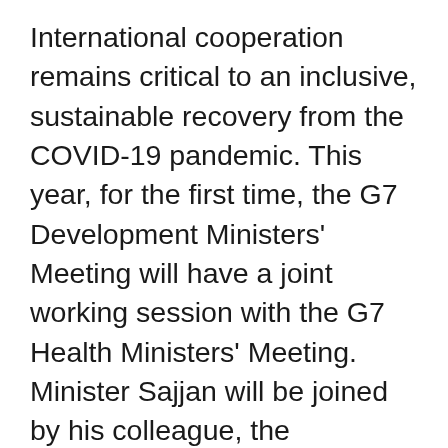International cooperation remains critical to an inclusive, sustainable recovery from the COVID-19 pandemic. This year, for the first time, the G7 Development Ministers' Meeting will have a joint working session with the G7 Health Ministers' Meeting. Minister Sajjan will be joined by his colleague, the Honourable Jean-Yves Duclos, Minister of Health, to discuss accelerating equitable and sustainable access to safe and quality-assured vaccines, therapeutics and diagnostics, as well as strengthening pandemic prevention, preparedness and response in developing countries.